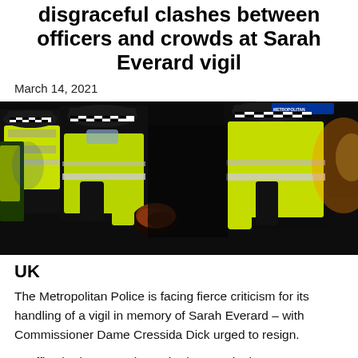disgraceful clashes between officers and crowds at Sarah Everard vigil
March 14, 2021
[Figure (photo): Metropolitan Police officers in high-visibility yellow jackets and chequered caps restraining a person at the Sarah Everard vigil on Clapham Common, night scene]
UK
The Metropolitan Police is facing fierce criticism for its handling of a vigil in memory of Sarah Everard – with Commissioner Dame Cressida Dick urged to resign.
Scuffles broke out at the gathering on Clapham Common as officers told attendees to go home – and at one stage,